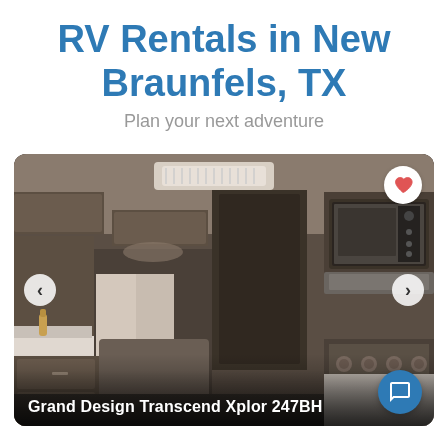RV Rentals in New Braunfels, TX
Plan your next adventure
[Figure (photo): Interior photo of an RV showing kitchen area with dark wood cabinets, microwave, stove, countertops, and living area in background. Navigation arrows on left and right sides. Heart/favorite button in top right corner. Chat button in bottom right corner.]
Grand Design Transcend Xplor 247BH